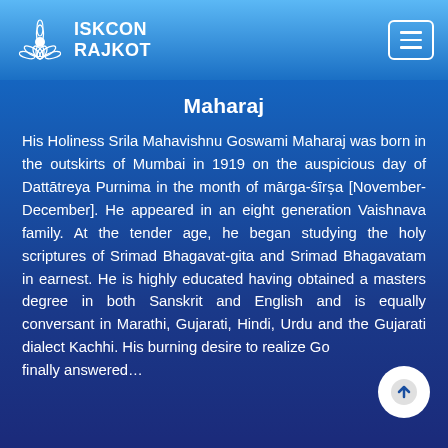ISKCON RAJKOT
Maharaj
His Holiness Srila Mahavishnu Goswami Maharaj was born in the outskirts of Mumbai in 1919 on the auspicious day of Dattātreya Purnima in the month of mārga-śīrṣa [November-December]. He appeared in an eight generation Vaishnava family. At the tender age, he began studying the holy scriptures of Srimad Bhagavat-gita and Srimad Bhagavatam in earnest. He is highly educated having obtained a masters degree in both Sanskrit and English and is equally conversant in Marathi, Gujarati, Hindi, Urdu and the Gujarati dialect Kachhi. His burning desire to realize Go... finally answered…